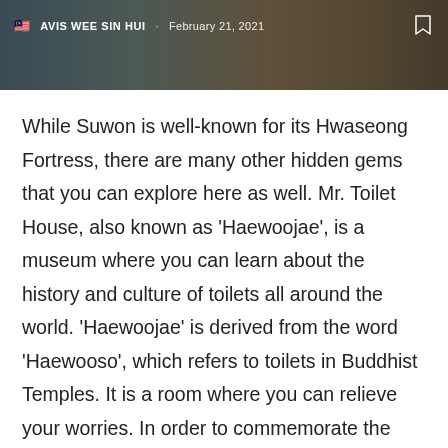🇲🇾 AVIS WEE SIN HUI · February 21, 2021
While Suwon is well-known for its Hwaseong Fortress, there are many other hidden gems that you can explore here as well. Mr. Toilet House, also known as 'Haewoojae', is a museum where you can learn about the history and culture of toilets all around the world. 'Haewoojae' is derived from the word 'Haewooso', which refers to toilets in Buddhist Temples. It is a room where you can relieve your worries. In order to commemorate the World Toilet Association and to spread knowledge about the importance of toilets throughout the world, Mr. Sim Jae-duck rebuilt his 30-year-old house into the shape of a toilet and named it 'Haewoojae'.